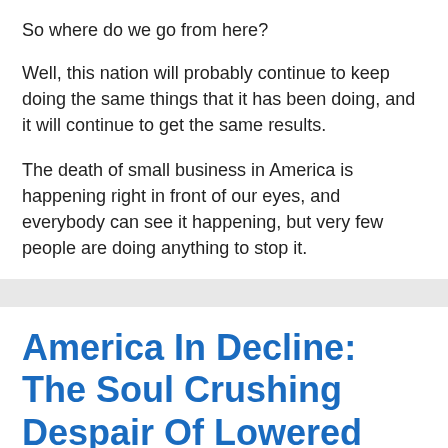So where do we go from here?
Well, this nation will probably continue to keep doing the same things that it has been doing, and it will continue to get the same results.
The death of small business in America is happening right in front of our eyes, and everybody can see it happening, but very few people are doing anything to stop it.
America In Decline: The Soul Crushing Despair Of Lowered Expectations